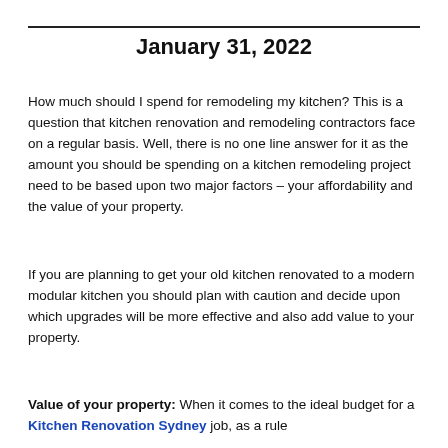January 31, 2022
How much should I spend for remodeling my kitchen? This is a question that kitchen renovation and remodeling contractors face on a regular basis. Well, there is no one line answer for it as the amount you should be spending on a kitchen remodeling project need to be based upon two major factors – your affordability and the value of your property.
If you are planning to get your old kitchen renovated to a modern modular kitchen you should plan with caution and decide upon which upgrades will be more effective and also add value to your property.
Value of your property: When it comes to the ideal budget for a Kitchen Renovation Sydney job, as a rule